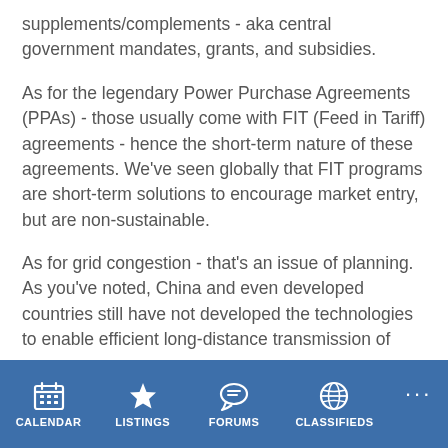supplements/complements - aka central government mandates, grants, and subsidies.
As for the legendary Power Purchase Agreements (PPAs) - those usually come with FIT (Feed in Tariff) agreements - hence the short-term nature of these agreements. We've seen globally that FIT programs are short-term solutions to encourage market entry, but are non-sustainable.
As for grid congestion - that's an issue of planning. As you've noted, China and even developed countries still have not developed the technologies to enable efficient long-distance transmission of power.
CALENDAR  LISTINGS  FORUMS  CLASSIFIEDS  ···